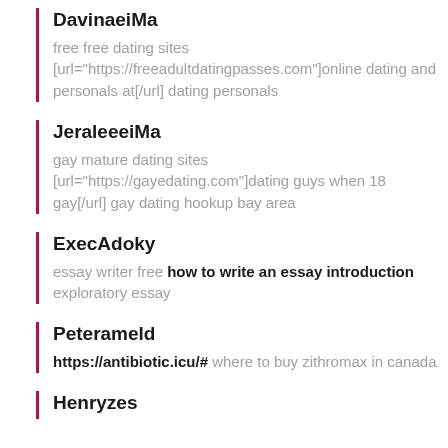DavinaeiMa
free free dating sites [url="https://freeadultdatingpasses.com"]online dating and personals at[/url] dating personals
JeraleeeiMa
gay mature dating sites [url="https://gayedating.com"]dating guys when 18 gay[/url] gay dating hookup bay area
ExecAdoky
essay writer free how to write an essay introduction exploratory essay
Peterameld
https://antibiotic.icu/# where to buy zithromax in canada
Henryzes